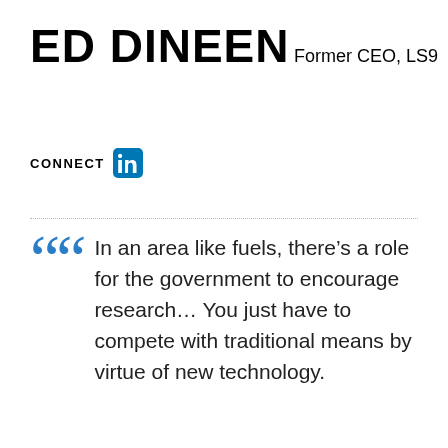ED DINEEN
Former CEO, LS9
CONNECT
[Figure (logo): LinkedIn logo icon — white 'in' on blue rounded square background]
In an area like fuels, there’s a role for the government to encourage research… You just have to compete with traditional means by virtue of new technology.